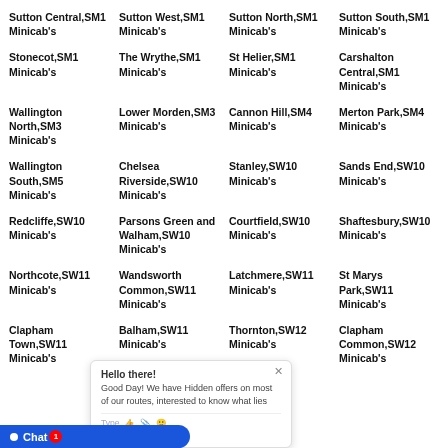Sutton Central,SM1 Minicab's
Sutton West,SM1 Minicab's
Sutton North,SM1 Minicab's
Sutton South,SM1 Minicab's
Stonecot,SM1 Minicab's
The Wrythe,SM1 Minicab's
St Helier,SM1 Minicab's
Carshalton Central,SM1 Minicab's
Wallington North,SM3 Minicab's
Lower Morden,SM3 Minicab's
Cannon Hill,SM4 Minicab's
Merton Park,SM4 Minicab's
Wallington South,SM5 Minicab's
Chelsea Riverside,SW10 Minicab's
Stanley,SW10 Minicab's
Sands End,SW10 Minicab's
Redcliffe,SW10 Minicab's
Parsons Green and Walham,SW10 Minicab's
Courtfield,SW10 Minicab's
Shaftesbury,SW10 Minicab's
Northcote,SW11 Minicab's
Wandsworth Common,SW11 Minicab's
Latchmere,SW11 Minicab's
St Marys Park,SW11 Minicab's
Clapham Town,SW11 Minicab's
Balham,SW11 Minicab's
Thornton,SW12 Minicab's
Clapham Common,SW12 Minicab's